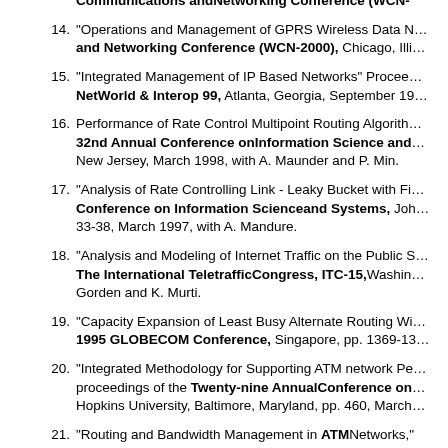"Operations and Management of GPRS Wireless Data N... and Networking Conference (WCN-2000), Chicago, Illi...
"Integrated Management of IP Based Networks" Procee... NetWorld & Interop 99, Atlanta, Georgia, September 19...
Performance of Rate Control Multipoint Routing Algorith... 32nd Annual Conference onInformation Science and... New Jersey, March 1998, with A. Maunder and P. Min.
"Analysis of Rate Controlling Link - Leaky Bucket with Fi... Conference on Information Scienceand Systems, Joh... 33-38, March 1997, with A. Mandure.
"Analysis and Modeling of Internet Traffic on the Public S... The International TeletrafficCongress, ITC-15, Washin... Gorden and K. Murti.
"Capacity Expansion of Least Busy Alternate Routing Wi... 1995 GLOBECOM Conference, Singapore, pp. 1369-13...
"Integrated Methodology for Supporting ATM network Pe... proceedings of the Twenty-nine AnnualConference on... Hopkins University, Baltimore, Maryland, pp. 460, March...
"Routing and Bandwidth Management in ATMNetworks,"